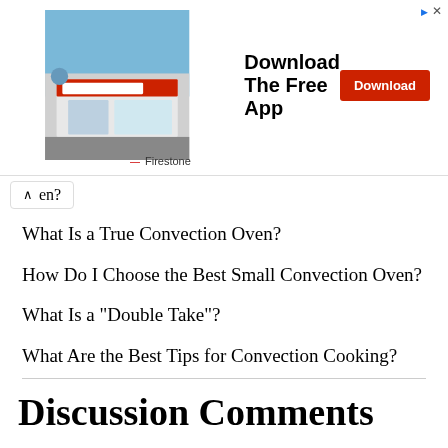[Figure (other): Firestone store advertisement banner with store photo, 'Download The Free App' text, and a red Download button]
en?
What Is a True Convection Oven?
How Do I Choose the Best Small Convection Oven?
What Is a "Double Take"?
What Are the Best Tips for Convection Cooking?
Discussion Comments